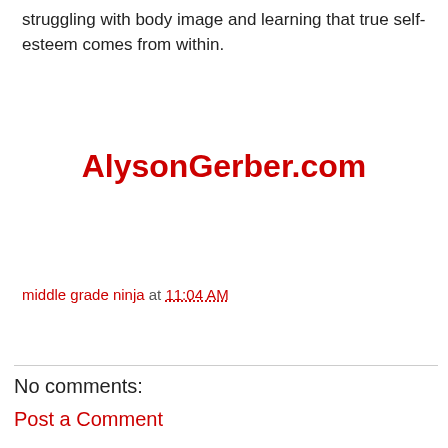struggling with body image and learning that true self-esteem comes from within.
AlysonGerber.com
middle grade ninja at 11:04 AM
Share
No comments:
Post a Comment
Thanks for stopping by, Esteemed Reader! And thanks for taking the time to comment. You are awesome.